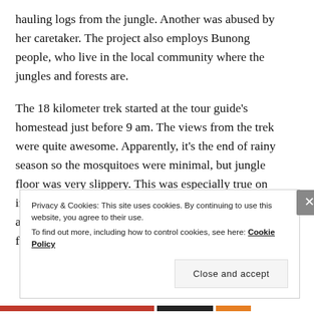hauling logs from the jungle. Another was abused by her caretaker. The project also employs Bunong people, who live in the local community where the jungles and forests are.
The 18 kilometer trek started at the tour guide's homestead just before 9 am. The views from the trek were quite awesome. Apparently, it's the end of rainy season so the mosquitoes were minimal, but jungle floor was very slippery. This was especially true on inclines and declines. I lost my footing a few times and was invited to promptly sit down on the jungle floor.
Privacy & Cookies: This site uses cookies. By continuing to use this website, you agree to their use.
To find out more, including how to control cookies, see here: Cookie Policy
Close and accept